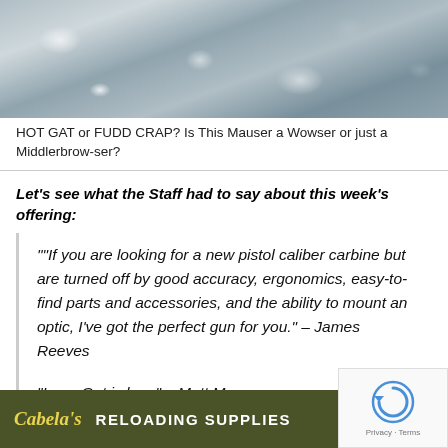[Figure (photo): Top portion of page showing a grey gravel or rock surface texture photo]
HOT GAT or FUDD CRAP? Is This Mauser a Wowser or just a Middlerbrow-ser?
Let's see what the Staff had to say about this week's offering:
""If you are looking for a new pistol caliber carbine but are turned off by good accuracy, ergonomics, easy-to-find parts and accessories, and the ability to mount an optic, I've got the perfect gun for you." – James Reeves
"Long Gat is long" – Matt M.
"Feel like a 1940s German Joker would be less chipper" – Sam S.
"Wh
[Figure (screenshot): Cabela's advertisement banner: RELOADING SUPPLIES with SHOP NOW button]
[Figure (logo): reCAPTCHA overlay with circular arrow logo and Privacy - Terms text]